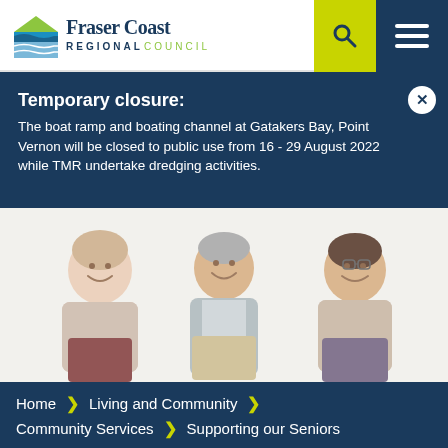[Figure (logo): Fraser Coast Regional Council logo with icon and text]
Temporary closure: The boat ramp and boating channel at Gatakers Bay, Point Vernon will be closed to public use from 16 - 29 August 2022 while TMR undertake dredging activities.
[Figure (photo): Three elderly people (two women, one man) sitting and smiling, on a white background]
Home > Living and Community > Community Services > Supporting our Seniors